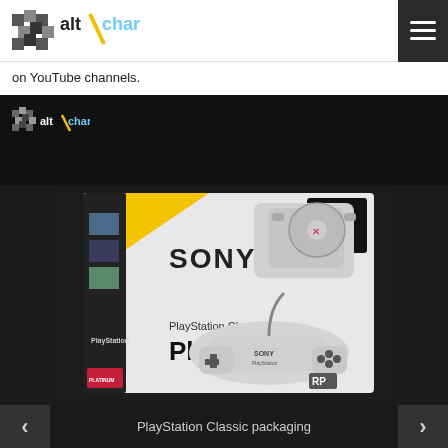altChar
on YouTube channels.
[Figure (photo): AltChar logo on black background banner]
[Figure (photo): PlayStation Classic product packaging box showing the miniature PS1 console and original DualShock controller, with Sony branding and PlayStation Classic and PlayStation text on the box]
PlayStation Classic packaging